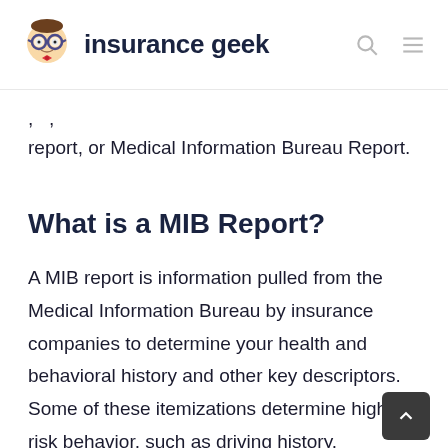insurance geek
report, or Medical Information Bureau Report.
What is a MIB Report?
A MIB report is information pulled from the Medical Information Bureau by insurance companies to determine your health and behavioral history and other key descriptors. Some of these itemizations determine high-risk behavior, such as driving history.